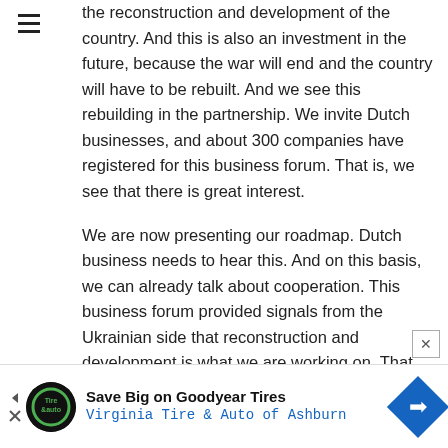the reconstruction and development of the country. And this is also an investment in the future, because the war will end and the country will have to be rebuilt. And we see this rebuilding in the partnership. We invite Dutch businesses, and about 300 companies have registered for this business forum. That is, we see that there is great interest.
We are now presenting our roadmap. Dutch business needs to hear this. And on this basis, we can already talk about cooperation. This business forum provided signals from the Ukrainian side that reconstruction and development is what we are working on. That there is a government plan to be presented at
[Figure (other): Advertisement banner: Save Big on Goodyear Tires - Virginia Tire & Auto of Ashburn, with logo and navigation arrows]